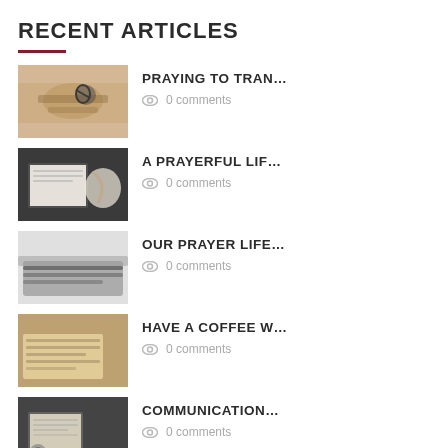RECENT ARTICLES
PRAYING TO TRAN… · 0 comments
A PRAYERFUL LIF… · 0 comments
OUR PRAYER LIFE… · 0 comments
HAVE A COFFEE W… · 0 comments
COMMUNICATION… · 0 comments
PRAYER